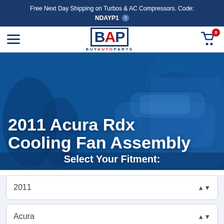Free Next Day Shipping on Turbos & AC Compressors. Code: NDAYP1
[Figure (logo): BuyAutoParts BAP logo with hamburger menu and shopping cart with 0 items]
2011 Acura Rdx Cooling Fan Assembly
Select Your Fitment:
2011
Acura